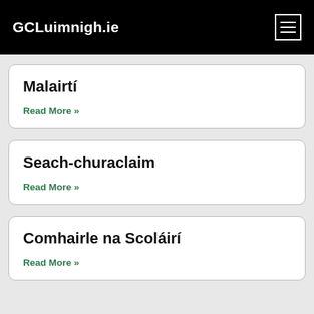GCLuimnigh.ie
Malairtí
Read More »
Seach-churaclaim
Read More »
Comhairle na Scoláirí
Read More »